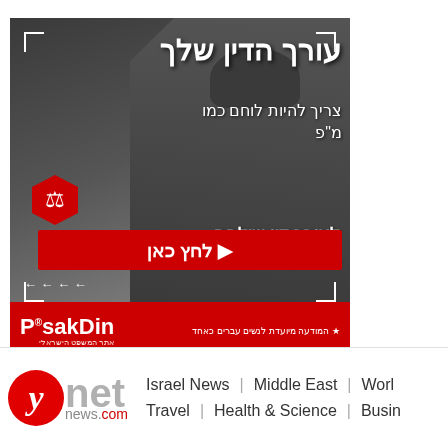[Figure (screenshot): PsakDin legal services advertisement in Hebrew. Features a soldier/warrior image with Hebrew text reading 'Your lawyer needs to fight like a warrior' and 'For a fighting lawyer for you...'. Red CTA button with Hebrew 'Click here'. Red bottom bar with PsakDin brand logo and Hebrew tagline. Corner brackets decorating the ad.]
[Figure (logo): Ynet news website header/navigation bar. Red circular 'y' logo, 'net' in gray, 'news.com' with 'com' in red. Navigation links: Israel News | Middle East | Worl... and Travel | Health & Science | Busin...]